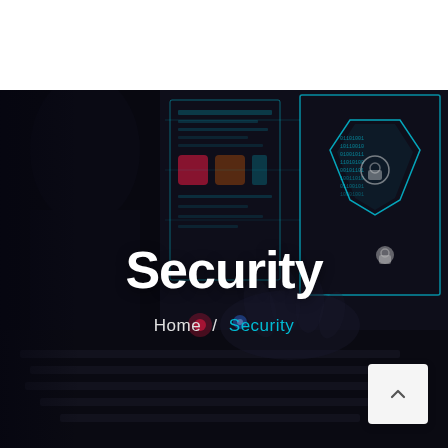[Figure (photo): Dark cybersecurity themed photo showing a person working on a laptop with glowing digital shield hologram and binary code overlays in blue and teal tones.]
Security
Home / Security